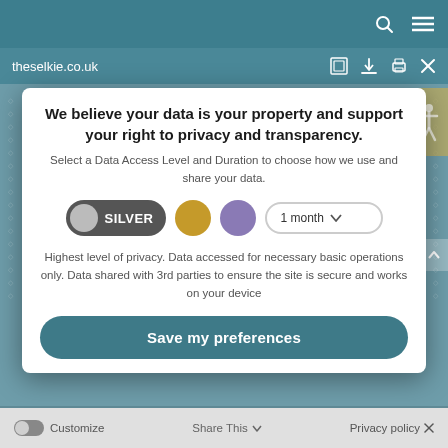theselkie.co.uk
We believe your data is your property and support your right to privacy and transparency.
Select a Data Access Level and Duration to choose how we use and share your data.
SILVER  1 month
Highest level of privacy. Data accessed for necessary basic operations only. Data shared with 3rd parties to ensure the site is secure and works on your device
Save my preferences
Customize  Share This  Privacy policy